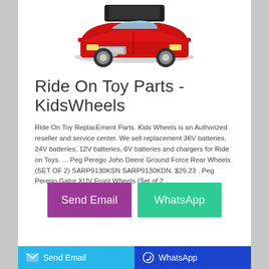[Figure (photo): A red toy ride-on car for kids, viewed from the front-left angle, with black accents and chrome-style wheels]
Ride On Toy Parts - KidsWheels
Ride On Toy ReplacEment Parts. Kids Wheels is an Authorized reseller and service center. We sell replacement 36V batteries, 24V batteries, 12V batteries, 6V batteries and chargers for Ride on Toys. ... Peg Perego John Deere Ground Force Rear Wheels (SET OF 2) SARP9130KSN SARP9130KDN. $29.23 . Peg Perego Gator XUV Front Wheels (Set of 2 ...
[Figure (screenshot): Send Email button (purple/violet) and WhatsApp button (green)]
Send Email   WhatsApp